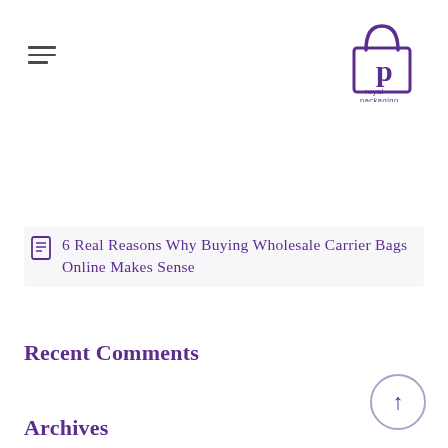[Figure (logo): Royal Packaging logo: a shopping bag outline with a lowercase 'p' inside, text 'royal packaging' below, in purple.]
6 Real Reasons Why Buying Wholesale Carrier Bags Online Makes Sense
Recent Comments
Archives
December 2018
November 2018
October 2018